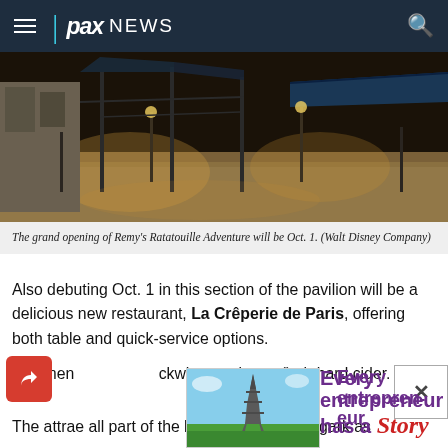pax NEWS
[Figure (photo): Aerial view of a French pavilion with iron gazebo structures, cobblestone paths, and warm evening lighting, resembling a Paris market scene.]
The grand opening of Remy's Ratatouille Adventure will be Oct. 1. (Walt Disney Company)
Also debuting Oct. 1 in this section of the pavilion will be a delicious new restaurant, La Crêperie de Paris, offering both table and quick-service options.
The menu will feature buckwheat galettes (…) ch hard cider.
The attraction … are all part of the historic … underway, bringing … ark as
[Figure (photo): Photo of the Eiffel Tower with green lawn and blue sky in the background.]
[Figure (infographic): Advertisement overlay reading 'Every entrepreneur has a Story' with purple and red script typography, with an X close button.]